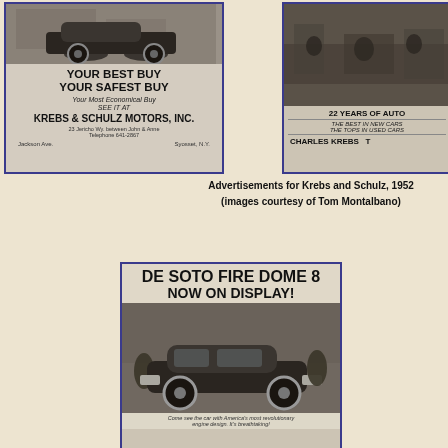[Figure (photo): Vintage newspaper advertisement for Krebs & Schulz Motors, Inc. showing a car photo at top with text 'YOUR BEST BUY YOUR SAFEST BUY Your Most Economical Buy SEE IT AT KREBS & SCHULZ MOTORS, INC.' with address and footer showing Jackson Ave. and Syosset N.Y.]
[Figure (photo): Partial vintage newspaper advertisement showing '22 YEARS OF AUTO...' with text 'THE BEST IN NEW CARS / THE TOPS IN USED CARS' and 'CHARLES KREBS' visible.]
Advertisements for Krebs and Schulz, 1952 (images courtesy of Tom Montalbano)
[Figure (photo): Vintage newspaper advertisement for De Soto Fire Dome 8 with headline 'DE SOTO FIRE DOME 8 NOW ON DISPLAY!' showing a car photograph and small text about revolutionary engine design.]